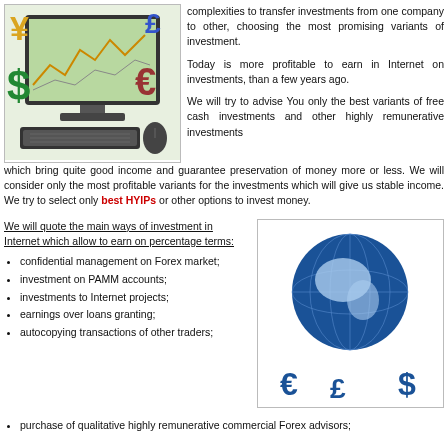[Figure (illustration): Computer monitor with financial currency symbols (yen, pound, dollar, euro) around it, with keyboard and mouse]
complexities to transfer investments from one company to other, choosing the most promising variants of investment.
Today is more profitable to earn in Internet on investments, than a few years ago.
We will try to advise You only the best variants of free cash investments and other highly remunerative investments which bring quite good income and guarantee preservation of money more or less. We will consider only the most profitable variants for the investments which will give us stable income. We try to select only best HYIPs or other options to invest money.
We will quote the main ways of investment in Internet which allow to earn on percentage terms:
confidential management on Forex market;
investment on PAMM accounts;
investments to Internet projects;
earnings over loans granting;
autocopying transactions of other traders;
[Figure (illustration): Blue globe with currency symbols (euro, dollar, pound) as 3D figures around it]
purchase of qualitative highly remunerative commercial Forex advisors;
SO WHERE IS BETTER TO INVEST?